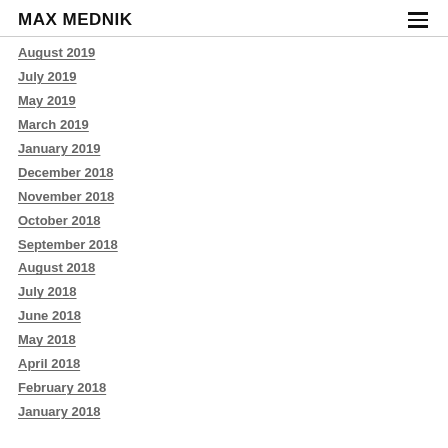MAX MEDNIK
August 2019
July 2019
May 2019
March 2019
January 2019
December 2018
November 2018
October 2018
September 2018
August 2018
July 2018
June 2018
May 2018
April 2018
February 2018
January 2018